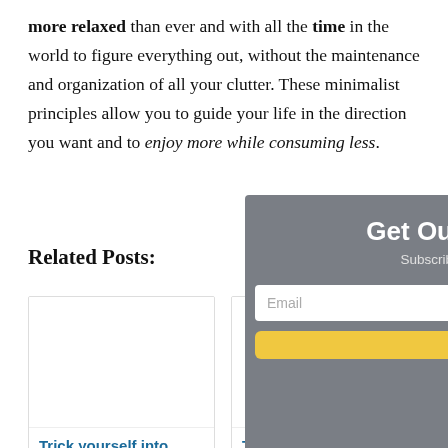more relaxed than ever and with all the time in the world to figure everything out, without the maintenance and organization of all your clutter. These minimalist principles allow you to guide your life in the direction you want and to enjoy more while consuming less.
Related Posts:
[Figure (other): Blank white card placeholder for a related post thumbnail]
Trick yourself into
[Figure (other): Blank white card placeholder for a second related post thumbnail]
The Ugly Truth
[Figure (screenshot): Overlay modal popup with grey background, showing 'Get Ou' (truncated heading), 'Subscrib' (truncated), Email input field, and yellow subscribe button]